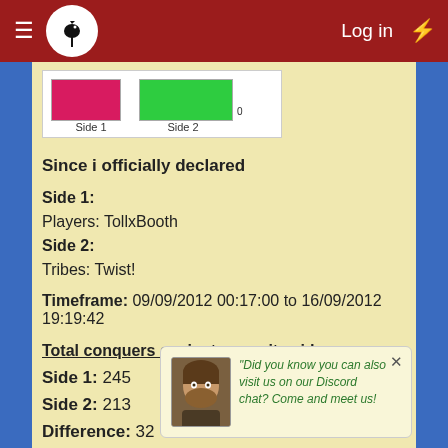Log in
[Figure (bar-chart): Side 1 vs Side 2]
Since i officially declared
Side 1:
Players: TollxBooth
Side 2:
Tribes: Twist!
Timeframe: 09/09/2012 00:17:00 to 16/09/2012 19:19:42
Total conquers against opposite side:
Side 1: 245
Side 2: 213
Difference: 32
Did you know you can also visit us on our Discord chat? Come and meet us!